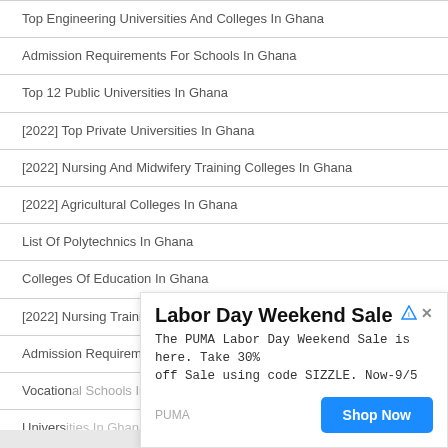Top Engineering Universities And Colleges In Ghana
Admission Requirements For Schools In Ghana
Top 12 Public Universities In Ghana
[2022] Top Private Universities In Ghana
[2022] Nursing And Midwifery Training Colleges In Ghana
[2022] Agricultural Colleges In Ghana
List Of Polytechnics In Ghana
Colleges Of Education In Ghana
[2022] Nursing Training Schools In Ghana
Admission Requirements For Nursing Training Colleges In Ghana
Vocational Schools In Ghana
Universities In Ghana
[Figure (other): Advertisement overlay for PUMA Labor Day Weekend Sale. Title: 'Labor Day Weekend Sale'. Body: 'The PUMA Labor Day Weekend Sale is here. Take 30% off Sale using code SIZZLE. Now-9/5'. Brand: PUMA. Button: 'Shop Now'.]